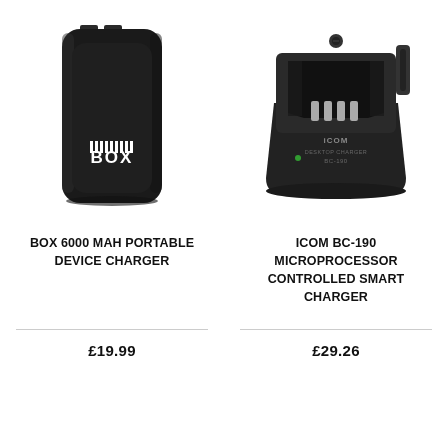[Figure (photo): BOX 6000 MAH portable device charger - black rectangular power bank with BOX logo]
[Figure (photo): ICOM BC-190 microprocessor controlled smart charger - black desktop charging cradle]
BOX 6000 MAH PORTABLE DEVICE CHARGER
ICOM BC-190 MICROPROCESSOR CONTROLLED SMART CHARGER
£19.99
£29.26